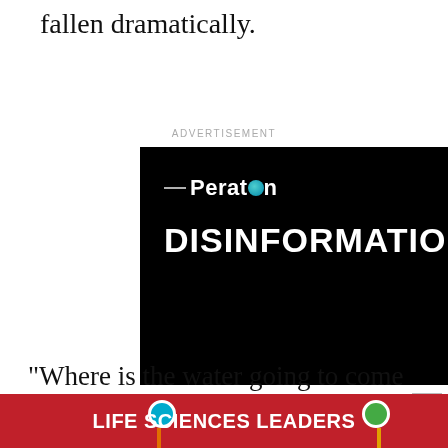fallen dramatically.
ADVERTISEMENT
[Figure (logo): Peraton advertisement on black background with company logo and the word DISINFORMATION in large white bold text]
“Where is the water going to come from to support these needed flows?” said Anne Castle, a sen…do
[Figure (infographic): Life Sciences Leaders banner in red with teal and green circular markers on sticks, partially overlapping the article text]